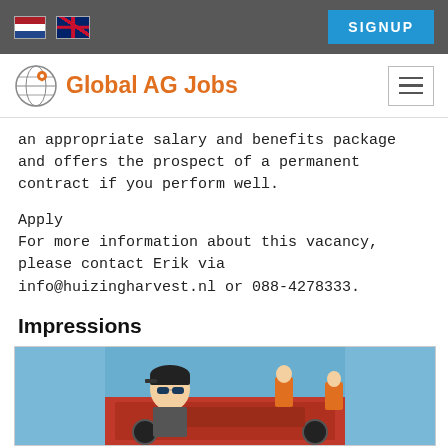Global AG Jobs — navigation bar with language flags and SIGNUP button
[Figure (logo): Global AG Jobs logo with globe icon and orange text]
an appropriate salary and benefits package and offers the prospect of a permanent contract if you perform well.
Apply
For more information about this vacancy, please contact Erik via info@huizingharvest.nl or 088-4278333.
Impressions
[Figure (photo): Photo of a man in a cap and sunglasses taking a selfie in front of red agricultural machinery with other workers in orange shirts in the background under a clear blue sky.]